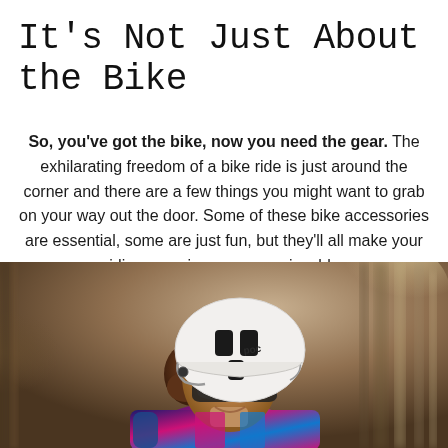It's Not Just About the Bike
So, you've got the bike, now you need the gear. The exhilarating freedom of a bike ride is just around the corner and there are a few things you might want to grab on your way out the door. Some of these bike accessories are essential, some are just fun, but they'll all make your riding experience more enjoyable.
[Figure (photo): A woman wearing a white POC cycling helmet and sunglasses, dressed in a colorful blue and pink cycling jersey, looking downward while riding. Background is blurred forest/trees (bokeh).]